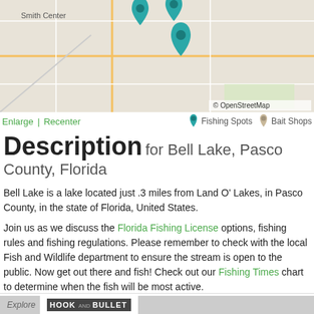[Figure (map): OpenStreetMap showing Smith Center area with teal location pin markers for fishing spots, and OpenStreetMap credit in bottom right]
Enlarge | Recenter
Fishing Spots  Bait Shops
Description for Bell Lake, Pasco County, Florida
Bell Lake is a lake located just .3 miles from Land O' Lakes, in Pasco County, in the state of Florida, United States.
Join us as we discuss the Florida Fishing License options, fishing rules and fishing regulations. Please remember to check with the local Fish and Wildlife department to ensure the stream is open to the public. Now get out there and fish! Check out our Fishing Times chart to determine when the fish will be most active.
Explore HOOK AND BULLET